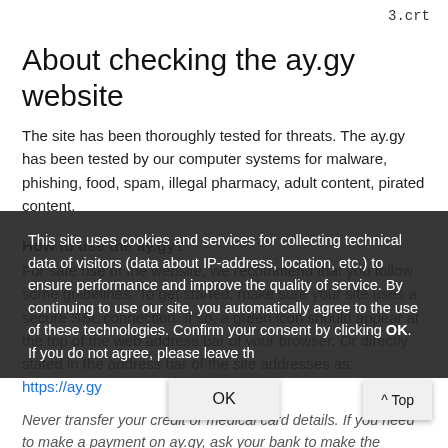3.crt
About checking the ay.gy website
The site has been thoroughly tested for threats. The ay.gy has been tested by our computer systems for malware, phishing, food, spam, illegal pharmacy, adult content, pirated content.
How to use the ay.gy?
For safe use of the website, we recommend that you follow some guidelines. To get started, make sure your site uses a secure SSL connection. If so, a green icon should appear at the top of the web address bar of your browser. Or directly stated in the address bar of the site addresses as: https://ay.gy
Never transfer your credit or medical card details. If you need to make a payment on ay.gy, ask your bank to make the transaction with a safe...
If you notice that your device has started to perform poorly after visiting the website, leave it immediately and clear the cache and cookies in your browser.
This site uses cookies and services for collecting technical data of visitors (data about IP-address, location, etc.) to ensure performance and improve the quality of service. By continuing to use our site, you automatically agree to the use of these technologies. Confirm your consent by clicking OK. If you do not agree, please leave th...